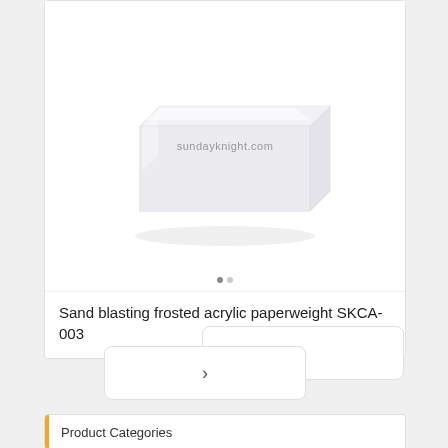[Figure (photo): White/frosted acrylic paperweight with square shape and beveled edges, photographed on white background. Watermark reads 'sundayknight.com'.]
Sand blasting frosted acrylic paperweight SKCA-003
[Figure (screenshot): Navigation arrow buttons (previous < and next >) for a product image carousel]
Product Categories